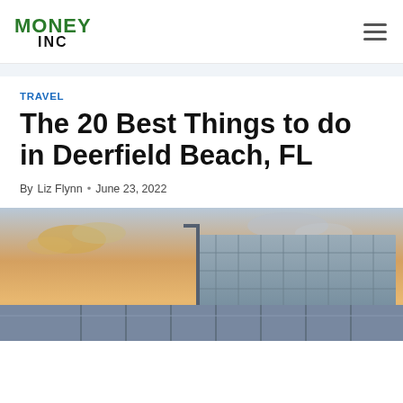Money Inc
TRAVEL
The 20 Best Things to do in Deerfield Beach, FL
By Liz Flynn • June 23, 2022
[Figure (photo): Photo of Deerfield Beach pier and bridge structure at sunset with warm golden sky and clouds]